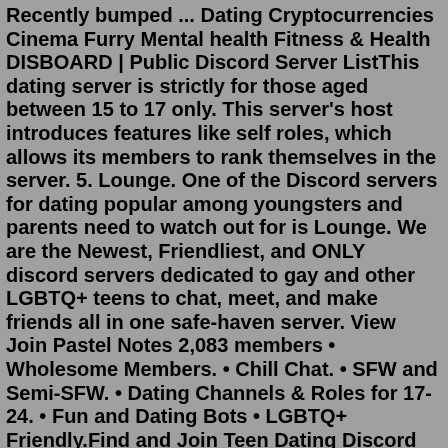Recently bumped ... Dating Cryptocurrencies Cinema Furry Mental health Fitness & Health DISBOARD | Public Discord Server ListThis dating server is strictly for those aged between 15 to 17 only. This server's host introduces features like self roles, which allows its members to rank themselves in the server. 5. Lounge. One of the Discord servers for dating popular among youngsters and parents need to watch out for is Lounge. We are the Newest, Friendliest, and ONLY discord servers dedicated to gay and other LGBTQ+ teens to chat, meet, and make friends all in one safe-haven server. View Join Pastel Notes 2,083 members • Wholesome Members. • Chill Chat. • SFW and Semi-SFW. • Dating Channels & Roles for 17-24. • Fun and Dating Bots • LGBTQ+ Friendly.Find and Join Teen Dating Discord Servers on the largest Discord Server collection on the planet. 17. Watch Together! Movie, Chat, Events ... Chat With Everyone Friendly Dating Environment Public ... Discord Server Templates The platform for the platform has the biggest member come list one of using discord